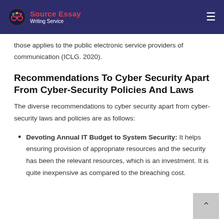Source Essay Writing Service
those applies to the public electronic service providers of communication (ICLG. 2020).
Recommendations To Cyber Security Apart From Cyber-Security Policies And Laws
The diverse recommendations to cyber security apart from cyber-security laws and policies are as follows:
Devoting Annual IT Budget to System Security: It helps ensuring provision of appropriate resources and the security has been the relevant resources, which is an investment. It is quite inexpensive as compared to the breaching cost.